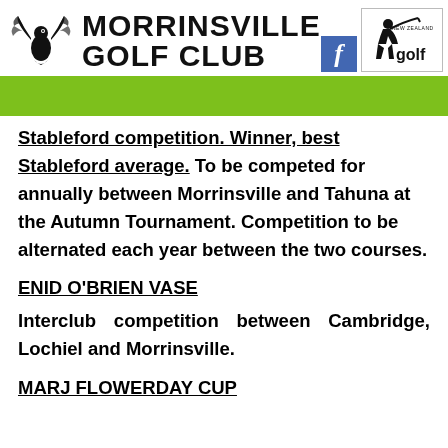MORRINSVILLE GOLF CLUB
Stableford competition. Winner, best Stableford average. To be competed for annually between Morrinsville and Tahuna at the Autumn Tournament. Competition to be alternated each year between the two courses.
ENID O'BRIEN VASE
Interclub competition between Cambridge, Lochiel and Morrinsville.
MARJ FLOWERDAY CUP